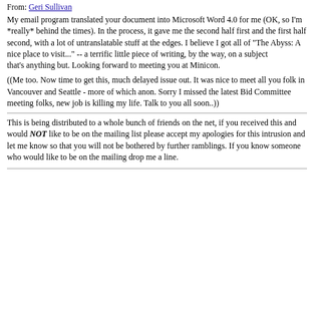From: Geri Sullivan
My email program translated your document into Microsoft Word 4.0 for me (OK, so I'm *really* behind the times). In the process, it gave me the second half first and the first half second, with a lot of untranslatable stuff at the edges. I believe I got all of "The Abyss: A nice place to visit..." -- a terrific little piece of writing, by the way, on a subject
that's anything but. Looking forward to meeting you at Minicon.
((Me too. Now time to get this, much delayed issue out. It was nice to meet all you folk in Vancouver and Seattle - more of which anon. Sorry I missed the latest Bid Committee meeting folks, new job is killing my life. Talk to you all soon..))
This is being distributed to a whole bunch of friends on the net, if you received this and would NOT like to be on the mailing list please accept my apologies for this intrusion and let me know so that you will not be bothered by further ramblings. If you know someone who would like to be on the mailing drop me a line.